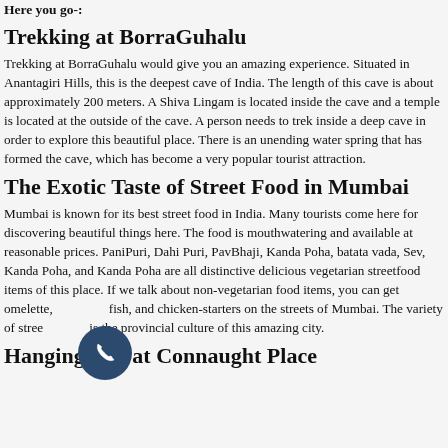Here you go-:
Trekking at BorraGuhalu
Trekking at BorraGuhalu would give you an amazing experience. Situated in Anantagiri Hills, this is the deepest cave of India. The length of this cave is about approximately 200 meters. A Shiva Lingam is located inside the cave and a temple is located at the outside of the cave. A person needs to trek inside a deep cave in order to explore this beautiful place. There is an unending water spring that has formed the cave, which has become a very popular tourist attraction.
The Exotic Taste of Street Food in Mumbai
Mumbai is known for its best street food in India. Many tourists come here for discovering beautiful things here. The food is mouthwatering and available at reasonable prices. PaniPuri, Dahi Puri, PavBhaji, Kanda Poha, batata vada, Sev, Kanda Poha, and Kanda Poha are all distinctive delicious vegetarian streetfood items of this place. If we talk about non-vegetarian food items, you can get omelette, fish, and chicken-starters on the streets of Mumbai. The variety of street food is the provincial culture of this amazing city.
Hanging Out at Connaught Place